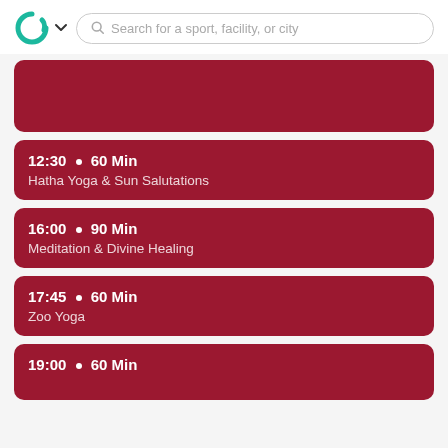Search for a sport, facility, or city
12:30 • 60 Min — Hatha Yoga & Sun Salutations
16:00 • 90 Min — Meditation & Divine Healing
17:45 • 60 Min — Zoo Yoga
19:00 • 60 Min